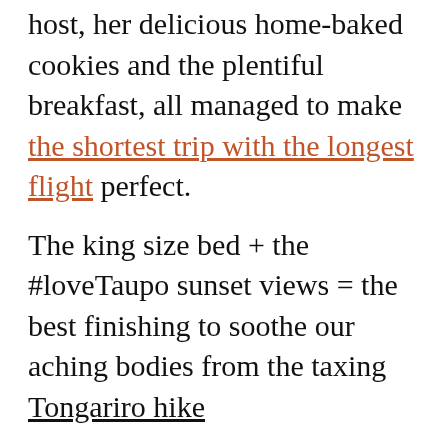host, her delicious home-baked cookies and the plentiful breakfast, all managed to make the shortest trip with the longest flight perfect.
The king size bed + the #loveTaupo sunset views = the best finishing to soothe our aching bodies from the taxing Tongariro hike
Get 10% discount on Booking.com using this link.
REYKJAVIK: ROOM WITH AN AURORA